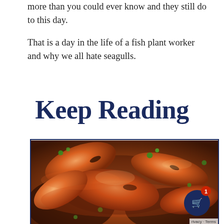more than you could ever know and they still do to this day.
That is a day in the life of a fish plant worker and why we all hate seagulls.
Keep Reading
[Figure (photo): Close-up photo of grilled or roasted shrimp with herbs and sauce on a dark plate]